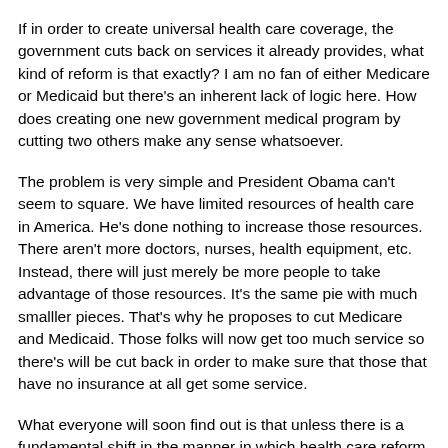If in order to create universal health care coverage, the government cuts back on services it already provides, what kind of reform is that exactly? I am no fan of either Medicare or Medicaid but there's an inherent lack of logic here. How does creating one new government medical program by cutting two others make any sense whatsoever.
The problem is very simple and President Obama can't seem to square. We have limited resources of health care in America. He's done nothing to increase those resources. There aren't more doctors, nurses, health equipment, etc. Instead, there will just merely be more people to take advantage of those resources. It's the same pie with much smalller pieces. That's why he proposes to cut Medicare and Medicaid. Those folks will now get too much service so there's will be cut back in order to make sure that those that have no insurance at all get some service.
What everyone will soon find out is that unless there is a fundamental shift in the manner in which health care reform is approached, that's all any of this will be. They will simply